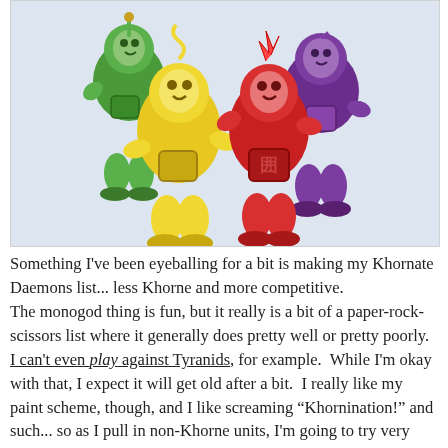[Figure (photo): Photo of four Teletubbies characters (green/Dipsy, yellow/Laa-Laa, red/Po, purple/Tinky Winky) posed together against a light blue-grey background.]
Something I've been eyeballing for a bit is making my Khornate Daemons list... less Khorne and more competitive.
The monogod thing is fun, but it really is a bit of a paper-rock-scissors list where it generally does pretty well or pretty poorly.  I can't even play against Tyranids, for example.  While I'm okay with that, I expect it will get old after a bit.  I really like my paint scheme, though, and I like screaming "Khornination!" and such... so as I pull in non-Khorne units, I'm going to try very hard to Khornify them while retaining the themes that will make what the